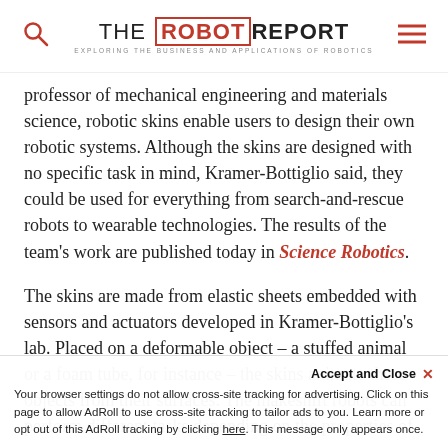THE ROBOT REPORT — EXPLORING THE BUSINESS AND APPLICATIONS OF ROBOTICS
professor of mechanical engineering and materials science, robotic skins enable users to design their own robotic systems. Although the skins are designed with no specific task in mind, Kramer-Bottiglio said, they could be used for everything from search-and-rescue robots to wearable technologies. The results of the team's work are published today in Science Robotics.
The skins are made from elastic sheets embedded with sensors and actuators developed in Kramer-Bottiglio's lab. Placed on a deformable object – a stuffed animal or a foam tube, for instance – the skins animate these objects from their surfaces. The makeshift robots can perform different tasks depending on the properties of the soft objects and how the skins are applied.
axle can make the skins simply wrap around one object to
Accept and Close ✕
Your browser settings do not allow cross-site tracking for advertising. Click on this page to allow AdRoll to use cross-site tracking to tailor ads to you. Learn more or opt out of this AdRoll tracking by clicking here. This message only appears once.